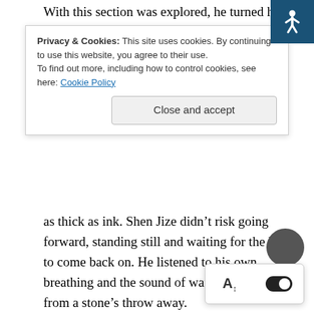With this section was explored, he turned his head to pick up
Privacy & Cookies: This site uses cookies. By continuing to use this website, you agree to their use.
To find out more, including how to control cookies, see here: Cookie Policy
[Close and accept]
as thick as ink. Shen Jize didn’t risk going forward, standing still and waiting for the light to come back on. He listened to his own breathing and the sound of water dripping from a stone’s throw away.
There was water here, so was there a water pipe? If he followed the water pipe, would he be able to find the light mass?
The light came back on in the middle of his thoughts, and he squinted to get used to it before taking a step forward. As a result, just a step was taken and then stopped. His entire body seemed to be nailed in place and couldn’t move a